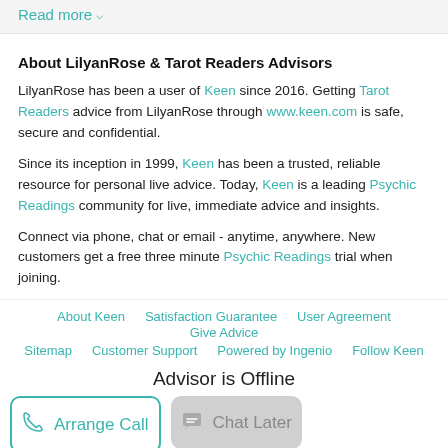Read more ∨
About LilyanRose & Tarot Readers Advisors
LilyanRose has been a user of Keen since 2016. Getting Tarot Readers advice from LilyanRose through www.keen.com is safe, secure and confidential.
Since its inception in 1999, Keen has been a trusted, reliable resource for personal live advice. Today, Keen is a leading Psychic Readings community for live, immediate advice and insights.
Connect via phone, chat or email - anytime, anywhere. New customers get a free three minute Psychic Readings trial when joining.
About Keen  Satisfaction Guarantee  User Agreement  Give Advice  Sitemap  Customer Support  Powered by Ingenio  Follow Keen
Advisor is Offline
Arrange Call
Chat Later